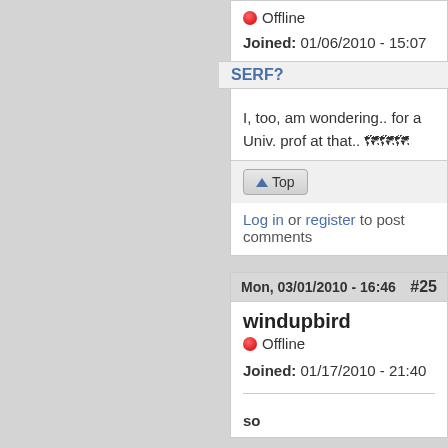🔴 Offline
Joined: 01/06/2010 - 15:07
SERF?
I, too, am wondering.. for a Univ. prof at that.. 🗺🗺🗺
⬆ Top
Log in or register to post comments
Mon, 03/01/2010 - 16:46  #25
windupbird
🔴 Offline
Joined: 01/17/2010 - 21:40
so